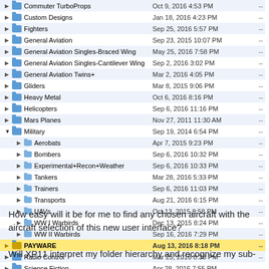[Figure (screenshot): macOS Finder-style file browser listing aircraft folders with names, dates, and dashes. A row labeled PAYWARE is highlighted in yellow. Sub-folders under Military are shown indented.]
How easy will it be for me to find any chosen aircraft with the aircraft selection of this new user interface?
Will XP11 interpret my folder hierarchy and recognize my sub-